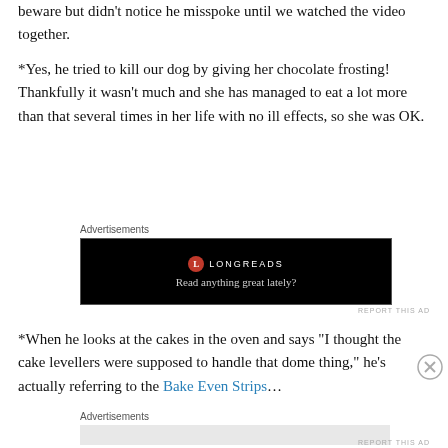beware but didn't notice he misspoke until we watched the video together.
*Yes, he tried to kill our dog by giving her chocolate frosting! Thankfully it wasn't much and she has managed to eat a lot more than that several times in her life with no ill effects, so she was OK.
[Figure (screenshot): Longreads advertisement: black banner with Longreads logo and tagline 'Read anything great lately?']
*When he looks at the cakes in the oven and says “I thought the cake levellers were supposed to handle that dome thing,” he’s actually referring to the Bake Even Strips…